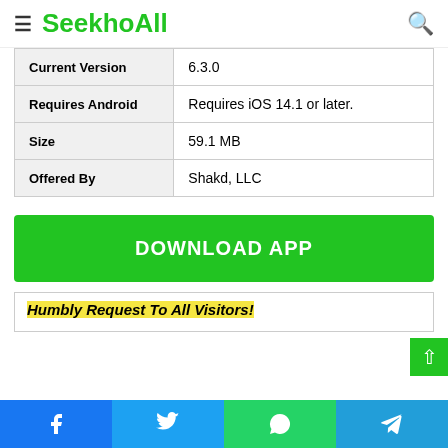SeekhoAll
| Field | Value |
| --- | --- |
| Current Version | 6.3.0 |
| Requires Android | Requires iOS 14.1 or later. |
| Size | 59.1 MB |
| Offered By | Shakd, LLC |
DOWNLOAD APP
Humbly Request To All Visitors!
Facebook | Twitter | WhatsApp | Telegram